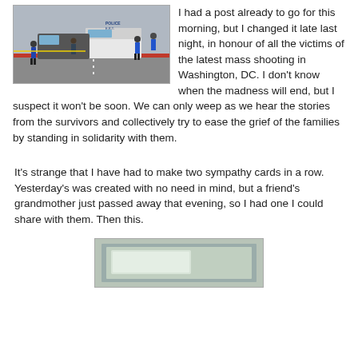[Figure (photo): Police vehicles and officers on a street scene, related to a mass shooting in Washington DC]
I had a post already to go for this morning, but I changed it late last night, in honour of all the victims of the latest mass shooting in Washington, DC.  I don't know when the madness will end, but I suspect it won't be soon.  We can only weep as we hear the stories from the survivors and collectively try to ease the grief of the families by standing in solidarity with them.
It's strange that I have had to make two sympathy cards in a row. Yesterday's was created with no need in mind, but a friend's grandmother just passed away that evening, so I had one I could share with them.  Then this.
[Figure (photo): A sympathy card image, partially visible at the bottom of the page]